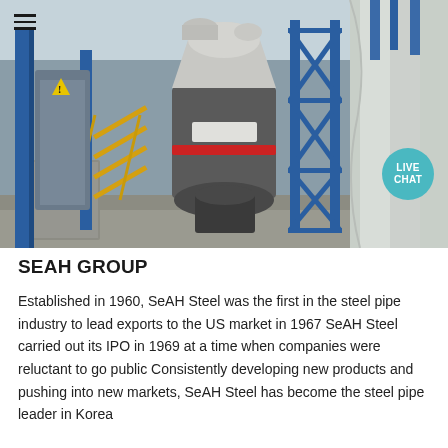[Figure (photo): Industrial steel facility showing large blue steel framework structures, pipes, a large cylindrical grinding or processing machine in the center, yellow metal staircases, and large white duct/pipe structures on the right. The scene is an outdoor industrial plant.]
SEAH GROUP
Established in 1960, SeAH Steel was the first in the steel pipe industry to lead exports to the US market in 1967 SeAH Steel carried out its IPO in 1969 at a time when companies were reluctant to go public Consistently developing new products and pushing into new markets, SeAH Steel has become the steel pipe leader in Korea